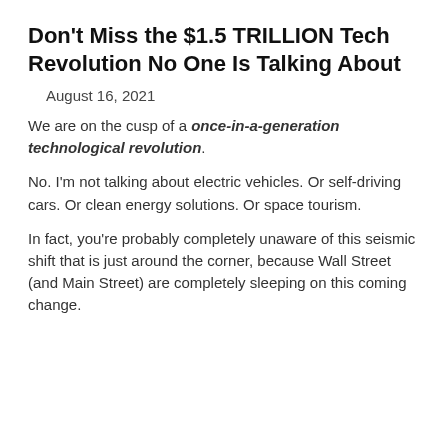Don't Miss the $1.5 TRILLION Tech Revolution No One Is Talking About
August 16, 2021
We are on the cusp of a once-in-a-generation technological revolution.
No. I'm not talking about electric vehicles. Or self-driving cars. Or clean energy solutions. Or space tourism.
In fact, you're probably completely unaware of this seismic shift that is just around the corner, because Wall Street (and Main Street) are completely sleeping on this coming change.